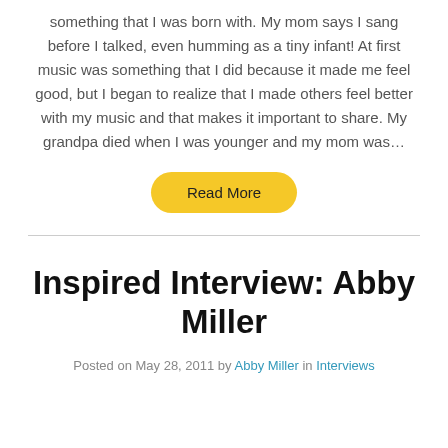something that I was born with. My mom says I sang before I talked, even humming as a tiny infant! At first music was something that I did because it made me feel good, but I began to realize that I made others feel better with my music and that makes it important to share. My grandpa died when I was younger and my mom was…
Read More
Inspired Interview: Abby Miller
Posted on May 28, 2011 by Abby Miller in Interviews